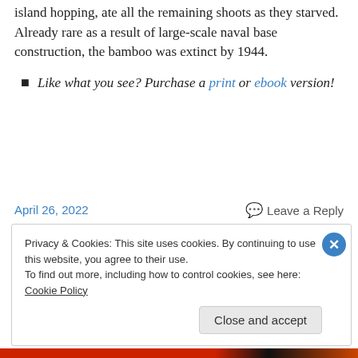island hopping, ate all the remaining shoots as they starved. Already rare as a result of large-scale naval base construction, the bamboo was extinct by 1944.
Like what you see? Purchase a print or ebook version!
April 26, 2022
Leave a Reply
Privacy & Cookies: This site uses cookies. By continuing to use this website, you agree to their use.
To find out more, including how to control cookies, see here: Cookie Policy
Close and accept